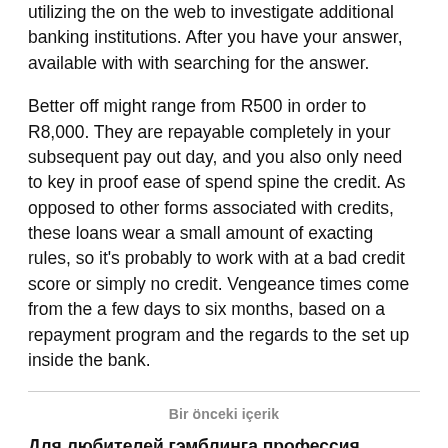utilizing the on the web to investigate additional banking institutions. After you have your answer, available with with searching for the answer.
Better off might range from R500 in order to R8,000. They are repayable completely in your subsequent pay out day, and you also only need to key in proof ease of spend spine the credit. As opposed to other forms associated with credits, these loans wear a small amount of exacting rules, so it's probably to work with at a bad credit score or simply no credit. Vengeance times come from the a few days to six months, based on a repayment program and the regards to the set up inside the bank.
Bir önceki içerik
Для любителей гэмблинга профессия призывает больше 50 club-spinsity.com/ живописных игровых